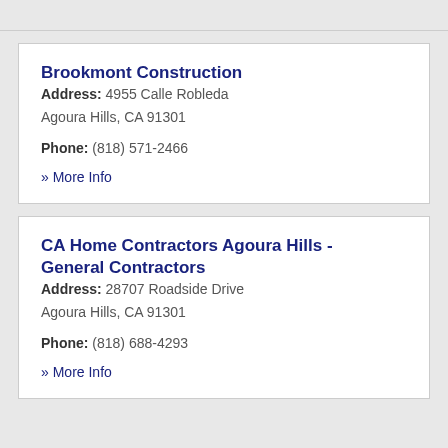Brookmont Construction
Address: 4955 Calle Robleda Agoura Hills, CA 91301
Phone: (818) 571-2466
» More Info
CA Home Contractors Agoura Hills - General Contractors
Address: 28707 Roadside Drive Agoura Hills, CA 91301
Phone: (818) 688-4293
» More Info